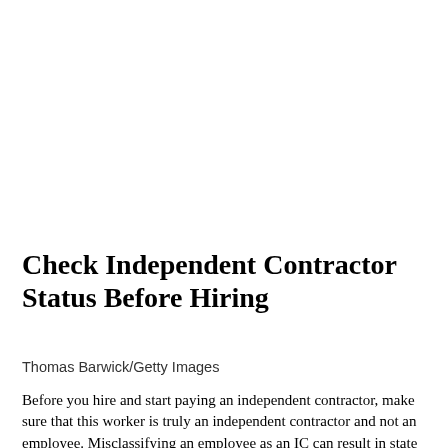Check Independent Contractor Status Before Hiring
Thomas Barwick/Getty Images
Before you hire and start paying an independent contractor, make sure that this worker is truly an independent contractor and not an employee. Misclassifying an employee as an IC can result in state and federal fines and penalties...